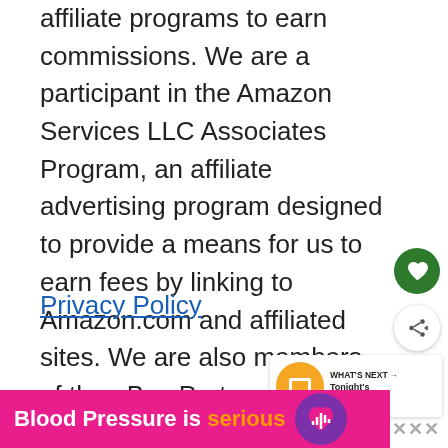affiliate programs to earn commissions. We are a participant in the Amazon Services LLC Associates Program, an affiliate advertising program designed to provide a means for us to earn fees by linking to Amazon.com and affiliated sites. We are also members of the eBay Partner Network.
Privacy Policy
About Us
[Figure (other): Advertisement banner: Blood Pressure is serious with purple heart icon]
[Figure (other): Heart favorite button (green circle with heart icon) and share button (white circle with share icon), plus What's Next TV schedule widget]